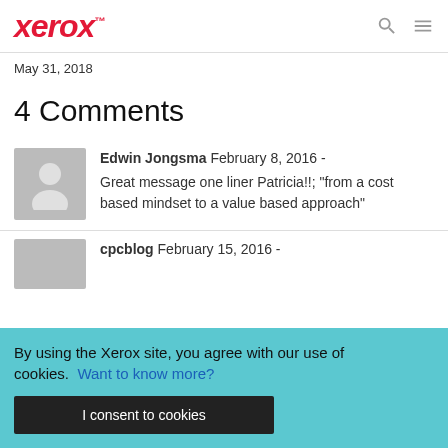xerox™
May 31, 2018
4 Comments
Edwin Jongsma February 8, 2016 - Great message one liner Patricia!!; "from a cost based mindset to a value based approach"
cpcblog February 15, 2016 -
By using the Xerox site, you agree with our use of cookies. Want to know more?
I consent to cookies